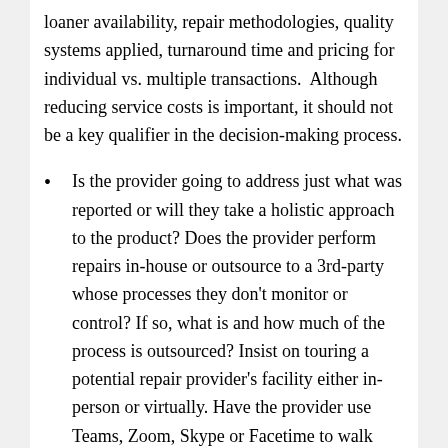loaner availability, repair methodologies, quality systems applied, turnaround time and pricing for individual vs. multiple transactions.  Although reducing service costs is important, it should not be a key qualifier in the decision-making process.
Is the provider going to address just what was reported or will they take a holistic approach to the product? Does the provider perform repairs in-house or outsource to a 3rd-party whose processes they don't monitor or control? If so, what is and how much of the process is outsourced? Insist on touring a potential repair provider's facility either in-person or virtually. Have the provider use Teams, Zoom, Skype or Facetime to walk you